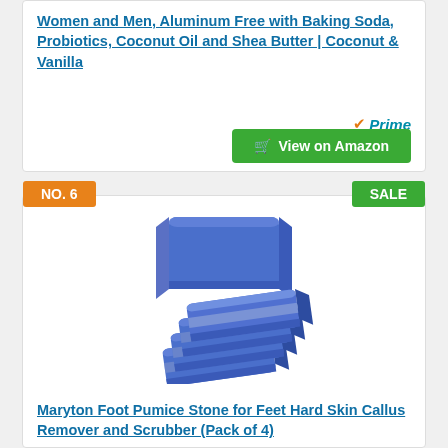Women and Men, Aluminum Free with Baking Soda, Probiotics, Coconut Oil and Shea Butter | Coconut & Vanilla
[Figure (photo): Amazon Prime logo with orange checkmark and teal italic Prime text]
[Figure (other): Green View on Amazon button with cart icon]
NO. 6
SALE
[Figure (photo): Blue pumice stones - Maryton Foot Pumice Stone for Feet Hard Skin Callus Remover and Scrubber Pack of 4 - five blue rectangular pumice stones stacked]
Maryton Foot Pumice Stone for Feet Hard Skin Callus Remover and Scrubber (Pack of 4)